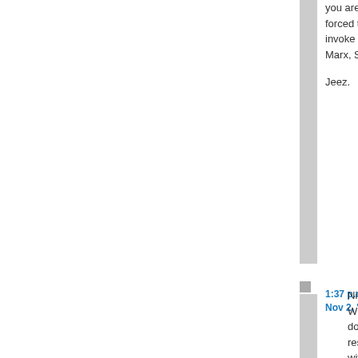you are forced to invoke Karl Marx, Sally.

Jeez.
1:37 p.m. Nov 2, '10
Nice try. What else does one respond with to this dialectic?

"Wrong-oh. Workers create wealth in society. The wealthly extract